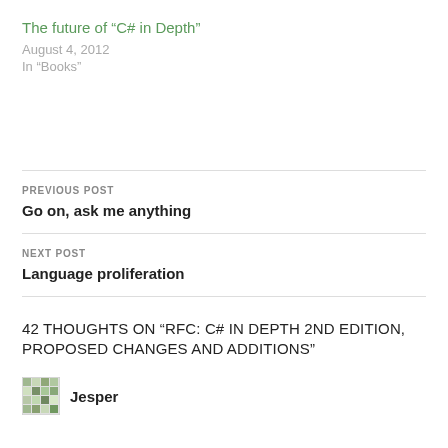The future of “C# in Depth”
August 4, 2012
In “Books”
PREVIOUS POST
Go on, ask me anything
NEXT POST
Language proliferation
42 THOUGHTS ON “RFC: C# IN DEPTH 2ND EDITION, PROPOSED CHANGES AND ADDITIONS”
Jesper